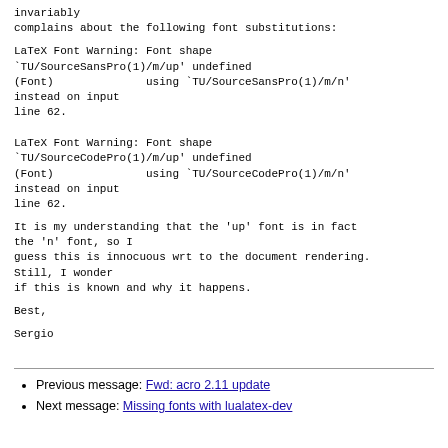invariably
complains about the following font substitutions:
LaTeX Font Warning: Font shape
`TU/SourceSansPro(1)/m/up' undefined
(Font)              using `TU/SourceSansPro(1)/m/n'
instead on input
line 62.
LaTeX Font Warning: Font shape
`TU/SourceCodePro(1)/m/up' undefined
(Font)              using `TU/SourceCodePro(1)/m/n'
instead on input
line 62.
It is my understanding that the 'up' font is in fact
the 'n' font, so I
guess this is innocuous wrt to the document rendering.
Still, I wonder
if this is known and why it happens.
Best,
Sergio
Previous message: Fwd: acro 2.11 update
Next message: Missing fonts with lualatex-dev